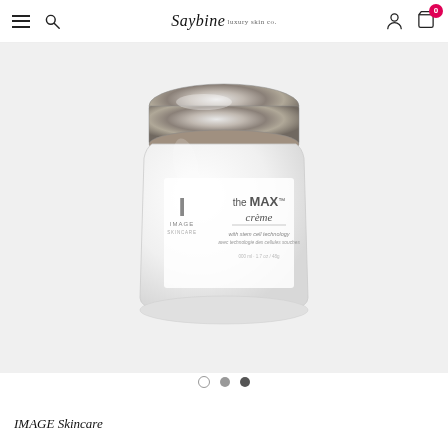Saybine — navigation bar with hamburger menu, search, logo, user icon, cart (0)
[Figure (photo): IMAGE Skincare 'the MAX crème with stem cell technology' product jar, white jar with silver metallic lid, label reads: the MAX™ crème, with stem cell technology / avec technologie des cellules souches, 1.7 oz / 48g, IMAGE SKINCARE]
IMAGE Skincare